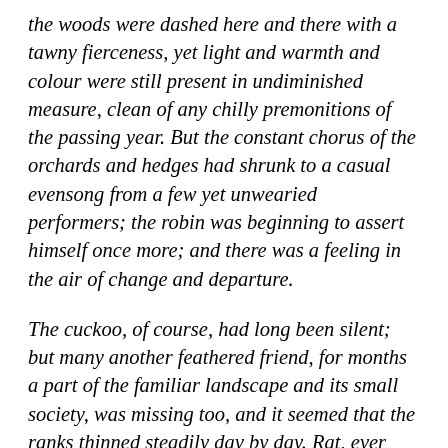the woods were dashed here and there with a tawny fierceness, yet light and warmth and colour were still present in undiminished measure, clean of any chilly premonitions of the passing year. But the constant chorus of the orchards and hedges had shrunk to a casual evensong from a few yet unwearied performers; the robin was beginning to assert himself once more; and there was a feeling in the air of change and departure.
The cuckoo, of course, had long been silent; but many another feathered friend, for months a part of the familiar landscape and its small society, was missing too, and it seemed that the ranks thinned steadily day by day. Rat, ever observant of all winged movement, saw that it was taking daily a southing tendency; and even as he lay in bed at night he thought he could make out, passing in the